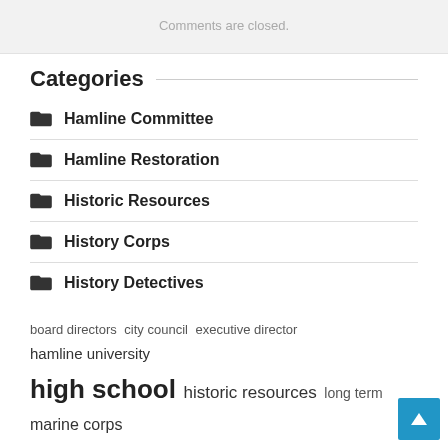Comments are closed.
Categories
Hamline Committee
Hamline Restoration
Historic Resources
History Corps
History Detectives
board directors  city council  executive director  hamline university  high school  historic resources  long term  marine corps  police department  press release  st paul  united states  vice president  wwii  world war